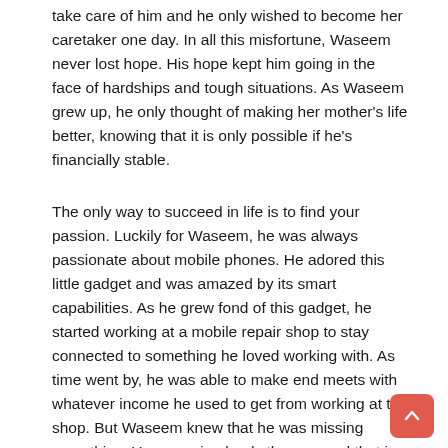take care of him and he only wished to become her caretaker one day. In all this misfortune, Waseem never lost hope. His hope kept him going in the face of hardships and tough situations. As Waseem grew up, he only thought of making her mother's life better, knowing that it is only possible if he's financially stable.
The only way to succeed in life is to find your passion. Luckily for Waseem, he was always passionate about mobile phones. He adored this little gadget and was amazed by its smart capabilities. As he grew fond of this gadget, he started working at a mobile repair shop to stay connected to something he loved working with. As time went by, he was able to make end meets with whatever income he used to get from working at the shop. But Waseem knew that he was missing something. Your passion leads the way and that is exactly what happened when Waseem came to know about a mobile technician training course at the TVET Sector Support Programme supported Memon Institute of Industrial Training (MITI). TVET Sector Support Programme (TVET SSP) is funded by the